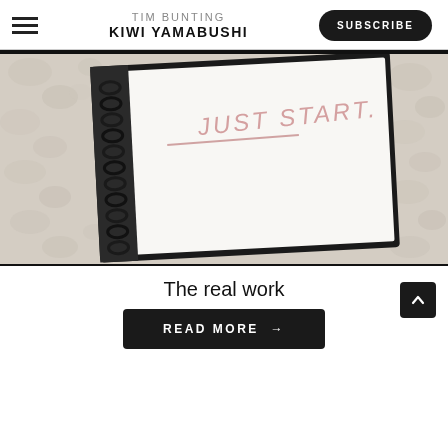TIM BUNTING KIWI YAMABUSHI | SUBSCRIBE
[Figure (photo): A spiral-bound notebook open to a page with 'JUST START.' handwritten in pink letters, lying on a textured cream knit fabric background.]
The real work
READ MORE →